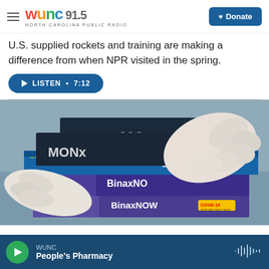WUNC 91.5 North Carolina Public Radio — Donate
U.S. supplied rockets and training are making a difference from when NPR visited in the spring.
LISTEN • 7:12
[Figure (photo): Gloved hands handling stacks of Abbott BinaxNOW COVID-19 rapid antigen self-test boxes, with purple and blue packaging visible.]
WUNC — People's Pharmacy